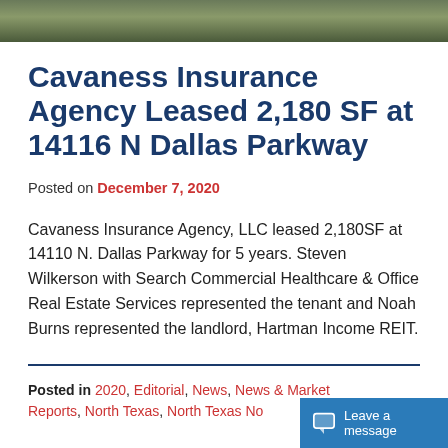[Figure (photo): Top banner image showing a building exterior or landscape, partially cropped]
Cavaness Insurance Agency Leased 2,180 SF at 14116 N Dallas Parkway
Posted on December 7, 2020
Cavaness Insurance Agency, LLC leased 2,180SF at 14110 N. Dallas Parkway for 5 years. Steven Wilkerson with Search Commercial Healthcare & Office Real Estate Services represented the tenant and Noah Burns represented the landlord, Hartman Income REIT.
Posted in 2020, Editorial, News, News & Market Reports, North Texas, North Texas No...